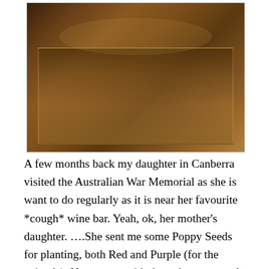[Figure (photo): A decoratively carved wooden chest or trunk with intricate relief carvings covering its surface. On top of the chest are some magazines and books. The chest has ornate panels on its front face.]
A few months back my daughter in Canberra visited the Australian War Memorial as she is want to do regularly as it is near her favourite *cough* wine bar. Yeah, ok, her mother's daughter. ….She sent me some Poppy Seeds for planting, both Red and Purple (for the animals). No success with the red as per usual though signs of a good showing of the purple for Remembrance D...